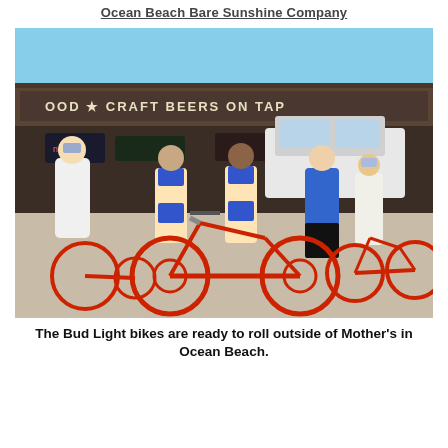Ocean Beach Bare Sunshine Company
[Figure (photo): Group of people posing with red tandem bicycles outside Mother's bar in Ocean Beach. Two women in blue bikinis sit on a tandem bike, a man in white stands to the left, and two other people stand to the right. The bar sign reads 'OOD • CRAFT BEERS ON TAP'. Red bicycles are visible and a white SUV is parked in the background.]
The Bud Light bikes are ready to roll outside of Mother's in Ocean Beach.